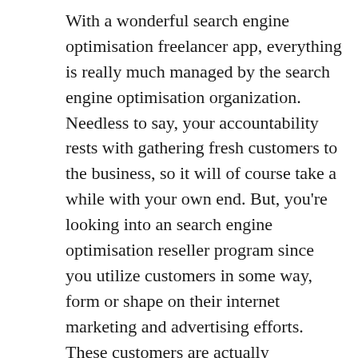With a wonderful search engine optimisation freelancer app, everything is really much managed by the search engine optimisation organization. Needless to say, your accountability rests with gathering fresh customers to the business, so it will of course take a while with your own end. But, you're looking into an search engine optimisation reseller program since you utilize customers in some way, form or shape on their internet marketing and advertising efforts. These customers are actually constructed in already, and fresh ones could include the SEO work that you do.
With a fantastic search engine optimisation